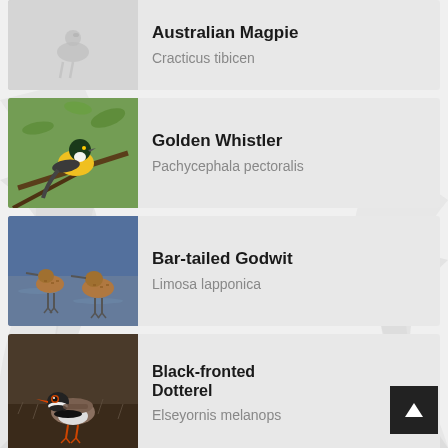[Figure (photo): Faint/washed-out photo of an Australian Magpie bird on light grey background]
Australian Magpie
Cracticus tibicen
[Figure (photo): Golden Whistler bird perched on a branch, yellow and dark green coloring]
Golden Whistler
Pachycephala pectoralis
[Figure (photo): Two Bar-tailed Godwit birds standing in shallow blue water]
Bar-tailed Godwit
Limosa lapponica
[Figure (photo): Black-fronted Dotterel bird on ground among grass/debris]
Black-fronted Dotterel
Elseyornis melanops